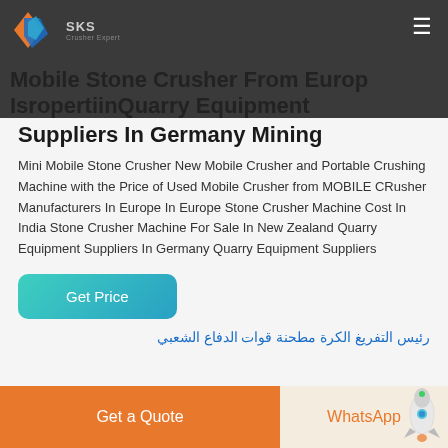SKS Crusher Expert — Mobile Stone Crusher From Europe IsropertiinQuarry Equipment Suppliers In Germany Mining
Mobile Stone Crusher From Europe IsropertiinQuarry Equipment Suppliers In Germany Mining
Mini Mobile Stone Crusher New Mobile Crusher and Portable Crushing Machine with the Price of Used Mobile Crusher from MOBILE CRusher Manufacturers In Europe In Europe Stone Crusher Machine Cost In India Stone Crusher Machine For Sale In New Zealand Quarry Equipment Suppliers In Germany Quarry Equipment Suppliers
Get Price
رئيس التفريغ الكرة مطحنة قوات الدفاع الشعبي
Get a Quote   WhatsApp